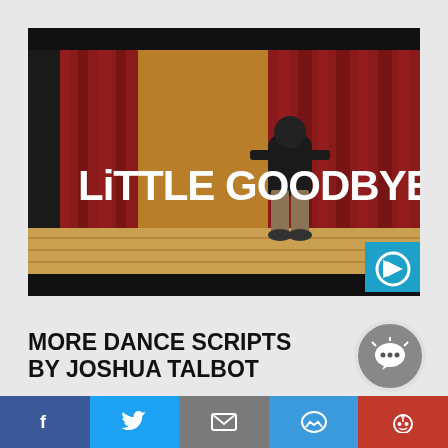[Figure (screenshot): Video thumbnail showing a person standing on a stage with red curtains, with text overlay reading 'LiTTLE GOODBYE' in large white letters. A play button is visible in the bottom right corner.]
MORE DANCE SCRIPTS BY JOSHUA TALBOT
[Figure (infographic): Social media sharing bar with Facebook, Twitter, email, Messenger, and Reddit buttons, plus a chat bubble icon]